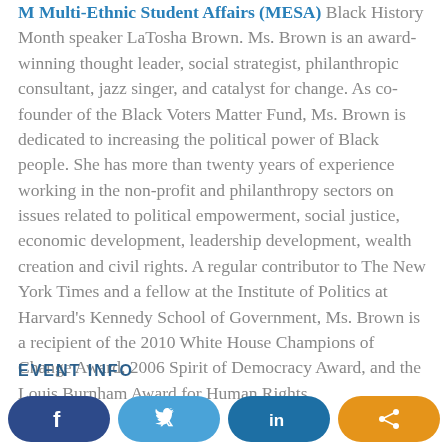M Multi-Ethnic Student Affairs (MESA) Black History Month speaker LaTosha Brown. Ms. Brown is an award-winning thought leader, social strategist, philanthropic consultant, jazz singer, and catalyst for change. As co-founder of the Black Voters Matter Fund, Ms. Brown is dedicated to increasing the political power of Black people. She has more than twenty years of experience working in the non-profit and philanthropy sectors on issues related to political empowerment, social justice, economic development, leadership development, wealth creation and civil rights. A regular contributor to The New York Times and a fellow at the Institute of Politics at Harvard's Kennedy School of Government, Ms. Brown is a recipient of the 2010 White House Champions of Change Award, 2006 Spirit of Democracy Award, and the Louis Burnham Award for Human Rights.
EVENT INFO
[Figure (other): Social media sharing buttons: Facebook (dark blue), Twitter (light blue), LinkedIn (medium blue), Share (orange)]